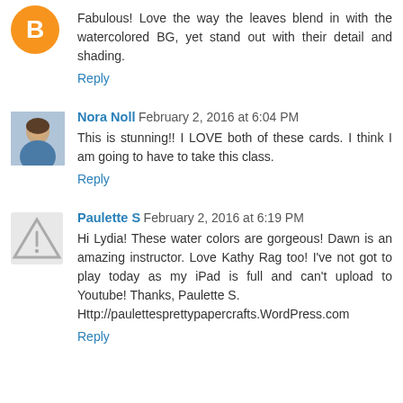[Figure (illustration): Orange Blogger avatar icon (circle with B)]
Fabulous! Love the way the leaves blend in with the watercolored BG, yet stand out with their detail and shading.
Reply
[Figure (photo): Profile photo of Nora Noll, a woman in a blue top]
Nora Noll February 2, 2016 at 6:04 PM
This is stunning!! I LOVE both of these cards. I think I am going to have to take this class.
Reply
[Figure (illustration): Grey triangle warning/alert icon placeholder avatar]
Paulette S February 2, 2016 at 6:19 PM
Hi Lydia! These water colors are gorgeous! Dawn is an amazing instructor. Love Kathy Rag too! I've not got to play today as my iPad is full and can't upload to Youtube! Thanks, Paulette S.
Http://paulettesprettypapercrafts.WordPress.com
Reply